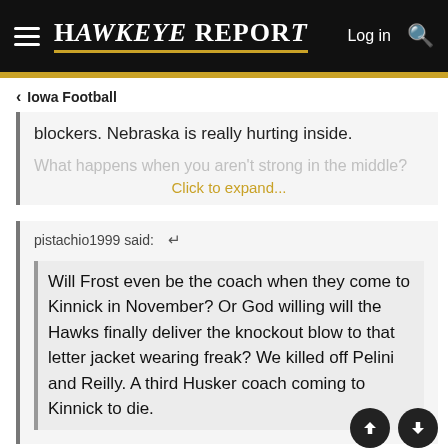Hawkeye Report — Log in
< Iowa Football
blockers. Nebraska is really hurting inside.
What happens when you aren't strong in the middle?
Click to expand...
pistachio1999 said:
Will Frost even be the coach when they come to Kinnick in November? Or God willing will the Hawks finally deliver the knockout blow to that letter jacket wearing freak? We killed off Pelini and Reilly. A third Husker coach coming to Kinnick to die.
I predict he will coach in the Iowa game. Then, after